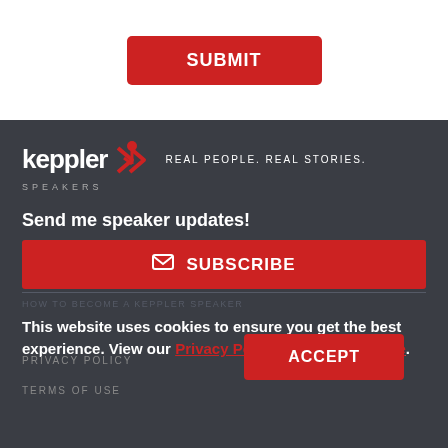[Figure (other): Red SUBMIT button on white background]
[Figure (logo): Keppler Speakers logo with red arrow icon and tagline REAL PEOPLE. REAL STORIES.]
Send me speaker updates!
[Figure (other): Red SUBSCRIBE button with envelope icon]
This website uses cookies to ensure you get the best experience. View our Privacy Policy and Terms of Use.
HOW TO BECOME A KEPPLER SPEAKER
PRIVACY POLICY
TERMS OF USE
[Figure (other): Red ACCEPT button]